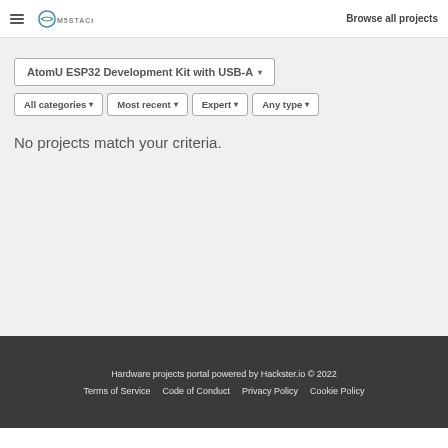Browse all projects
AtomU ESP32 Development Kit with USB-A ▾
All categories ▾   Most recent ▾   Expert ▾   Any type ▾
No projects match your criteria.
Hardware projects portal powered by Hackster.io © 2022
Terms of Service   Code of Conduct   Privacy Policy   Cookie Policy